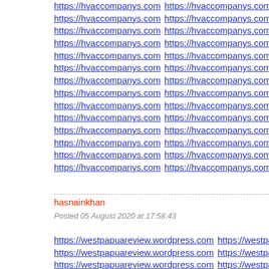https://hvaccompanys.com (repeated links in 3 columns, 14 rows visible)
hasnainkhan
Posted 05 August 2020 at 17:58:43
https://westpapuareview.wordpress.com (repeated links in 2 columns, 6+ rows visible)